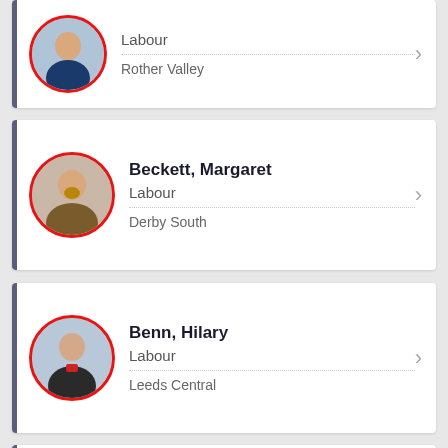[Figure (photo): Partial MP photo card - Labour, Rother Valley]
Labour
Rother Valley
[Figure (photo): MP photo of Margaret Beckett, circular with red border]
Beckett, Margaret
Labour
Derby South
[Figure (photo): MP photo of Hilary Benn, circular with red border]
Benn, Hilary
Labour
Leeds Central
[Figure (photo): MP photo of Luciana Berger, circular with red border]
Berger, Luciana
Labour (Co-op)
Liverpool, Wavertree